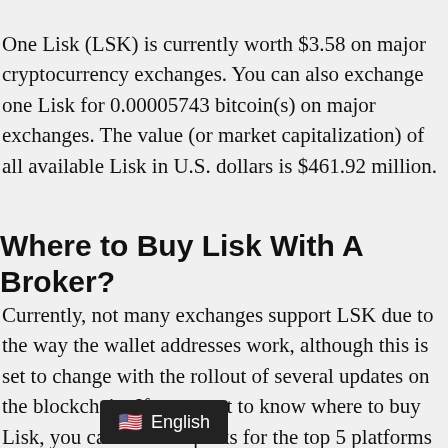One Lisk (LSK) is currently worth $3.58 on major cryptocurrency exchanges. You can also exchange one Lisk for 0.00005743 bitcoin(s) on major exchanges. The value (or market capitalization) of all available Lisk in U.S. dollars is $461.92 million.
Where to Buy Lisk With A Broker?
Currently, not many exchanges support LSK due to the way the wallet addresses work, although this is set to change with the rollout of several updates on the blockchain. If you want to know where to buy Lisk, you can find our picks for the top 5 platforms you can buy LSK on right